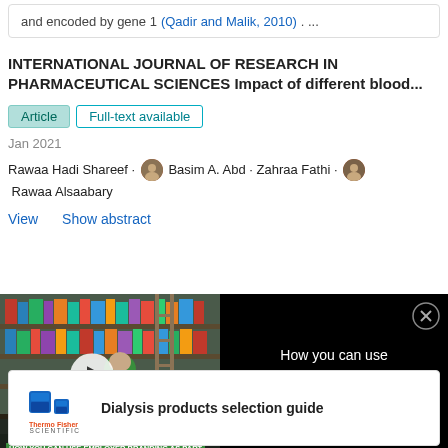and encoded by gene 1 (Qadir and Malik, 2010). ...
INTERNATIONAL JOURNAL OF RESEARCH IN PHARMACEUTICAL SCIENCES Impact of different blood...
Article  Full-text available
Jan 2021
Rawaa Hadi Shareef · Basim A. Abd · Zahraa Fathi · Rawaa Alsaabary
View   Show abstract
[Figure (screenshot): Video banner with bookshelf scene showing students studying, with play button overlay and text 'HOW YOU CAN USE EMPLOYER BRANDING AS PART OF YOUR RECRUITMENT STRATEGY IN ACADEMIA'. Right side shows text on black background: 'How you can use Employer Branding as part of your recruitment strategy in academia' with close button.]
[Figure (logo): Thermo Fisher Scientific logo with blue product icons]
Dialysis products selection guide